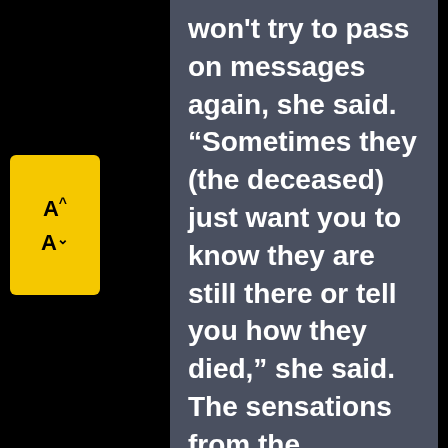[Figure (other): Yellow rounded rectangle UI widget showing font size controls: A^ (increase) and A~ (decrease) buttons]
won't try to pass on messages again, she said. “Sometimes they (the deceased) just want you to know they are still there or tell you how they died,” she said. The sensations from the Farmington